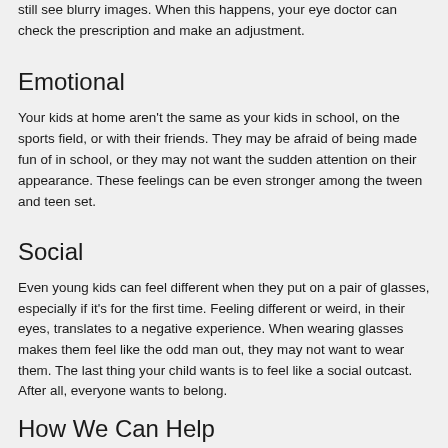still see blurry images. When this happens, your eye doctor can check the prescription and make an adjustment.
Emotional
Your kids at home aren't the same as your kids in school, on the sports field, or with their friends. They may be afraid of being made fun of in school, or they may not want the sudden attention on their appearance. These feelings can be even stronger among the tween and teen set.
Social
Even young kids can feel different when they put on a pair of glasses, especially if it's for the first time. Feeling different or weird, in their eyes, translates to a negative experience. When wearing glasses makes them feel like the odd man out, they may not want to wear them. The last thing your child wants is to feel like a social outcast. After all, everyone wants to belong.
How We Can Help